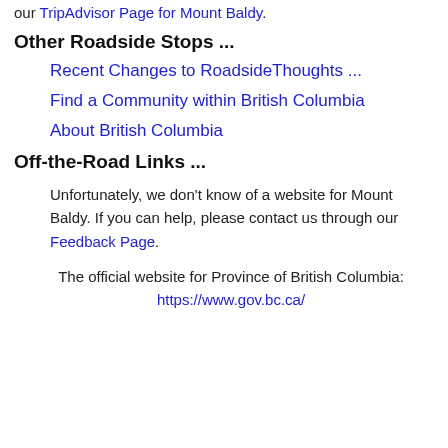our TripAdvisor Page for Mount Baldy.
Other Roadside Stops ...
Recent Changes to RoadsideThoughts ...
Find a Community within British Columbia
About British Columbia
Off-the-Road Links ...
Unfortunately, we don't know of a website for Mount Baldy. If you can help, please contact us through our Feedback Page.
The official website for Province of British Columbia: https://www.gov.bc.ca/